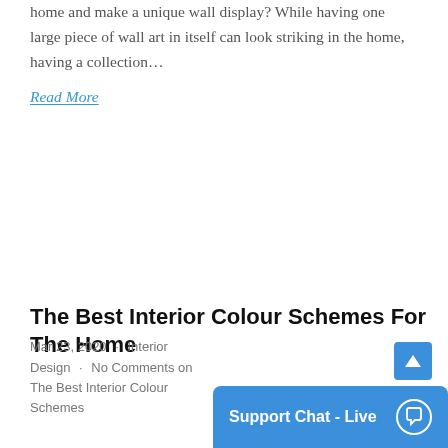home and make a unique wall display? While having one large piece of wall art in itself can look striking in the home, having a collection…
Read More
The Best Interior Colour Schemes For The Home
Mar 23, 2020 · Interior Design · No Comments on The Best Interior Colour Schemes
[Figure (screenshot): Live support chat widget button at the bottom right, blue background with white text 'Support Chat - Live' and a chat bubble icon]